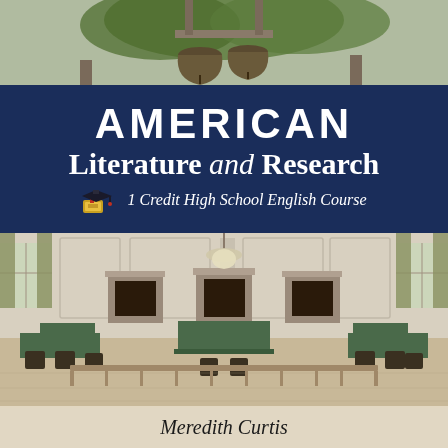[Figure (photo): Top of page: colonial building exterior with bell and greenery visible]
AMERICAN Literature and Research
1 Credit High School English Course
[Figure (photo): Independence Hall assembly room interior with colonial-era furniture, green-draped tables, Windsor chairs, fireplaces, and chandelier]
Meredith Curtis